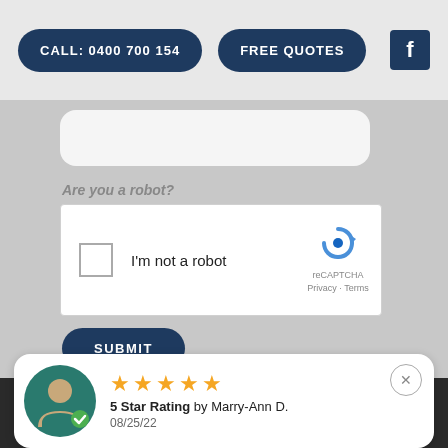CALL: 0400 700 154 | FREE QUOTES
Are you a robot?
[Figure (screenshot): reCAPTCHA widget with checkbox labeled 'I'm not a robot' and reCAPTCHA logo with Privacy and Terms links]
SUBMIT
5 Star Rating by Marry-Ann D. 08/25/22